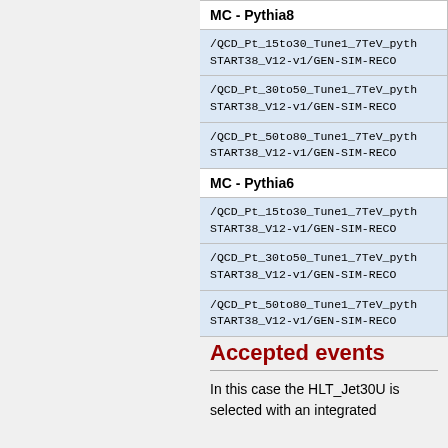| MC - Pythia8 |
| --- |
| /QCD_Pt_15to30_Tune1_7TeV_pyth...
START38_V12-v1/GEN-SIM-RECO... |
| /QCD_Pt_30to50_Tune1_7TeV_pyth...
START38_V12-v1/GEN-SIM-RECO... |
| /QCD_Pt_50to80_Tune1_7TeV_pyth...
START38_V12-v1/GEN-SIM-RECO... |
| MC - Pythia6 |
| /QCD_Pt_15to30_Tune1_7TeV_pyth...
START38_V12-v1/GEN-SIM-RECO... |
| /QCD_Pt_30to50_Tune1_7TeV_pyth...
START38_V12-v1/GEN-SIM-RECO... |
| /QCD_Pt_50to80_Tune1_7TeV_pyth...
START38_V12-v1/GEN-SIM-RECO... |
Accepted events
In this case the HLT_Jet30U is selected with an integrated